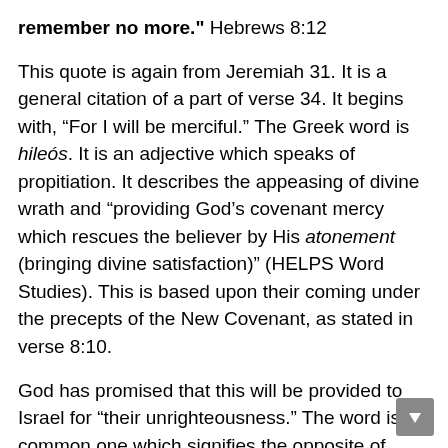remember no more." Hebrews 8:12
This quote is again from Jeremiah 31. It is a general citation of a part of verse 34. It begins with, “For I will be merciful.” The Greek word is hileós. It is an adjective which speaks of propitiation. It describes the appeasing of divine wrath and “providing God’s covenant mercy which rescues the believer by His atonement (bringing divine satisfaction)” (HELPS Word Studies). This is based upon their coming under the precepts of the New Covenant, as stated in verse 8:10.
God has promised that this will be provided to Israel for “their unrighteousness.” The word is a common one which signifies the opposite of justice. It is a violation of God’s standards, which in turn brings about God’s disapproval because it is contrary to His righteous judgment. Being a plural